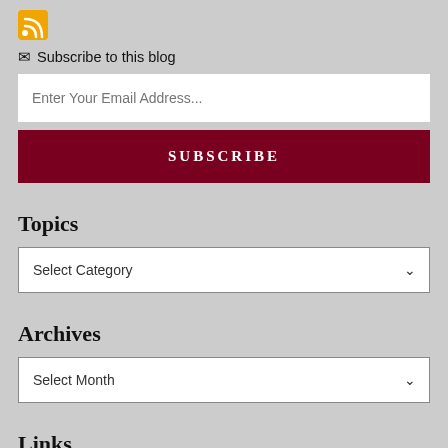[Figure (logo): RSS feed orange icon]
Subscribe to this blog
Enter Your Email Address...
SUBSCRIBE
Topics
Select Category
Archives
Select Month
Links